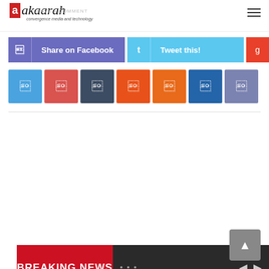akaarah - convergence media and technology
LEAVE A COMMENT
[Figure (screenshot): Social share buttons: Share on Facebook (purple), Tweet this! (light blue), and a red icon button. Below: a row of 8 colored icon square buttons in blue, red, navy, orange, dark-orange, blue, violet, and pink.]
[Figure (screenshot): BREAKING NEWS banner: red label on left reading BREAKING NEWS, dark background on right with ellipsis dots and navigation arrows.]